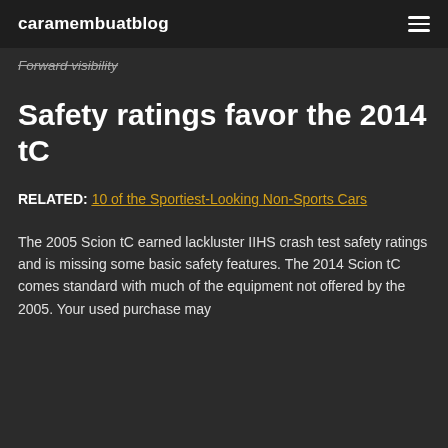caramembuatblog
Forward visibility
Safety ratings favor the 2014 tC
RELATED: 10 of the Sportiest-Looking Non-Sports Cars
The 2005 Scion tC earned lackluster IIHS crash test safety ratings and is missing some basic safety features. The 2014 Scion tC comes standard with much of the equipment not offered by the 2005. Your used purchase may